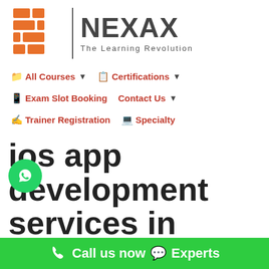[Figure (logo): Nexax logo with orange brick icon, vertical divider, NEXAX text and tagline 'The Learning Revolution']
📁 All Courses ▼   📋 Certifications ▼
📱 Exam Slot Booking   Contact Us ▼
✍ Trainer Registration   💻 Specialty
ios app development services in Proddatur
📞 Call us now 💬 Experts